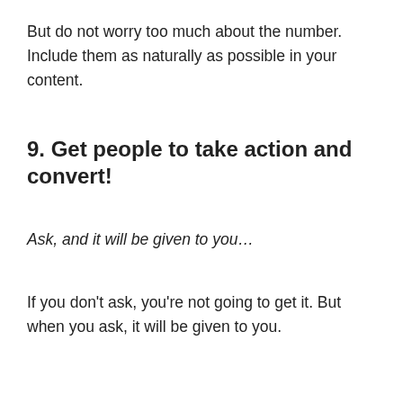But do not worry too much about the number. Include them as naturally as possible in your content.
9. Get people to take action and convert!
Ask, and it will be given to you…
If you don't ask, you're not going to get it. But when you ask, it will be given to you.